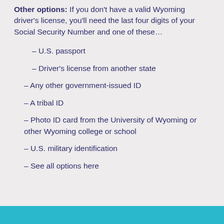Other options: If you don't have a valid Wyoming driver's license, you'll need the last four digits of your Social Security Number and one of these…
– U.S. passport
– Driver's license from another state
– Any other government-issued ID
– A tribal ID
– Photo ID card from the University of Wyoming or other Wyoming college or school
– U.S. military identification
– See all options here